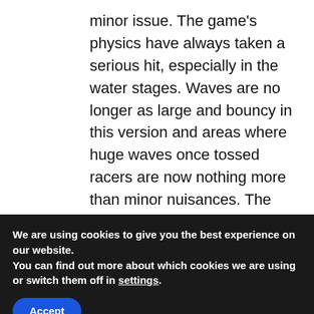minor issue. The game's physics have always taken a serious hit, especially in the water stages. Waves are no longer as large and bouncy in this version and areas where huge waves once tossed racers are now nothing more than minor nuisances. The loss of wave physics make the races a little less chaotic and exciting than they used to be.

The most noticeable difference lies in the graphics. The textures have been downgraded
We are using cookies to give you the best experience on our website.
You can find out more about which cookies we are using or switch them off in settings.
Accept